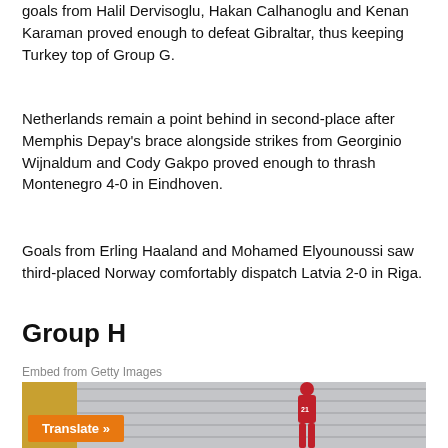goals from Halil Dervisoglu, Hakan Calhanoglu and Kenan Karaman proved enough to defeat Gibraltar, thus keeping Turkey top of Group G.
Netherlands remain a point behind in second-place after Memphis Depay's brace alongside strikes from Georginio Wijnaldum and Cody Gakpo proved enough to thrash Montenegro 4-0 in Eindhoven.
Goals from Erling Haaland and Mohamed Elyounoussi saw third-placed Norway comfortably dispatch Latvia 2-0 in Riga.
Group H
Embed from Getty Images
[Figure (photo): Football player in red jersey number 21 walking in front of stadium seating, with a yellow section on the left and a 'Translate »' button overlay in orange.]